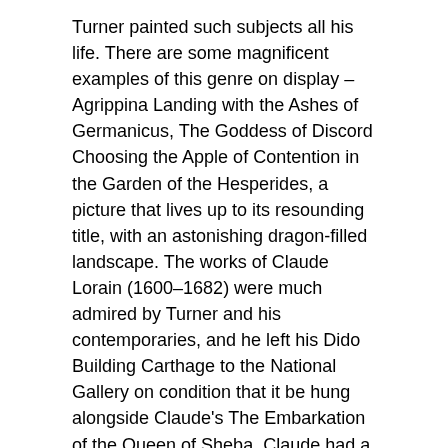Turner painted such subjects all his life. There are some magnificent examples of this genre on display – Agrippina Landing with the Ashes of Germanicus, The Goddess of Discord Choosing the Apple of Contention in the Garden of the Hesperides, a picture that lives up to its resounding title, with an astonishing dragon-filled landscape. The works of Claude Lorain (1600–1682) were much admired by Turner and his contemporaries, and he left his Dido Building Carthage to the National Gallery on condition that it be hung alongside Claude's The Embarkation of the Queen of Sheba. Claude had a far-reaching influence on landscape painting during his own lifetime and long afterwards.
Landscape, pastoral and sublime
Alongside his contemporaries in art and literature, Turner was fascinated by the concept of the Sublime – terrible beauty, huge overwhelming clouds and landscapes, and the parallel concept of Beauty – things lovely to look at,